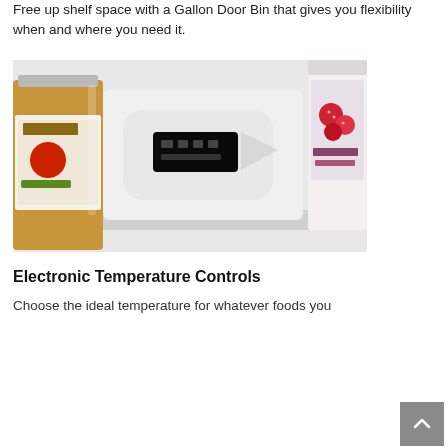Free up shelf space with a Gallon Door Bin that gives you flexibility when and where you need it.
[Figure (photo): Close-up photo of a refrigerator interior showing a white electronic control panel with a small digital display screen, flanked by a jar of food on the left and a package of food on the right.]
Electronic Temperature Controls
Choose the ideal temperature for whatever foods you